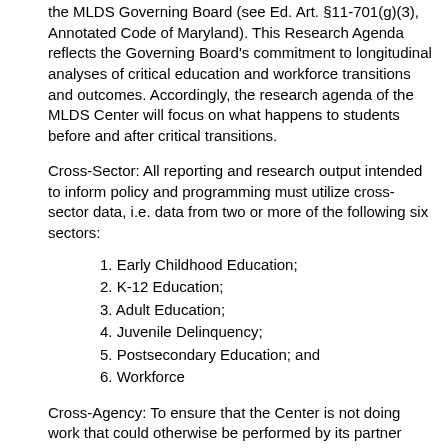the MLDS Governing Board (see Ed. Art. §11-701(g)(3), Annotated Code of Maryland). This Research Agenda reflects the Governing Board's commitment to longitudinal analyses of critical education and workforce transitions and outcomes. Accordingly, the research agenda of the MLDS Center will focus on what happens to students before and after critical transitions.
Cross-Sector: All reporting and research output intended to inform policy and programming must utilize cross-sector data, i.e. data from two or more of the following six sectors:
1. Early Childhood Education;
2. K-12 Education;
3. Adult Education;
4. Juvenile Delinquency;
5. Postsecondary Education; and
6. Workforce
Cross-Agency: To ensure that the Center is not doing work that could otherwise be performed by its partner agencies, research must also utilize data from at least two partner agencies. This cross-agency requirement does not apply in the following instances where more than one sector is provided by the same agency: